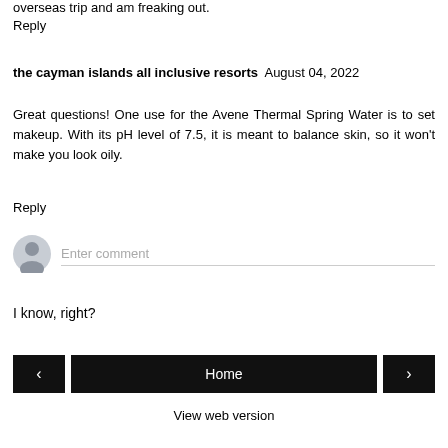overseas trip and am freaking out.
Reply
the cayman islands all inclusive resorts August 04, 2022
Great questions! One use for the Avene Thermal Spring Water is to set makeup. With its pH level of 7.5, it is meant to balance skin, so it won't make you look oily.
Reply
Enter comment
I know, right?
Home
View web version